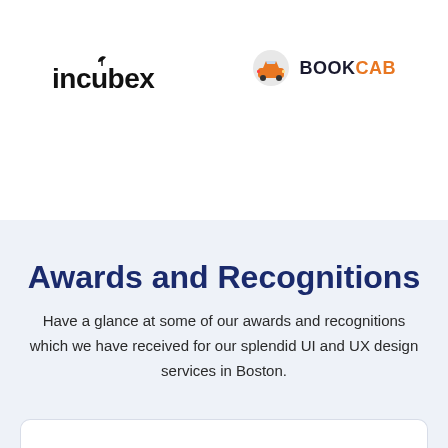[Figure (logo): incubex logo with stylized leaf/plant icon above the letter 'b']
[Figure (logo): BOOKCAB logo with orange car/taxi icon and text BOOK in dark and CAB in orange]
Awards and Recognitions
Have a glance at some of our awards and recognitions which we have received for our splendid UI and UX design services in Boston.